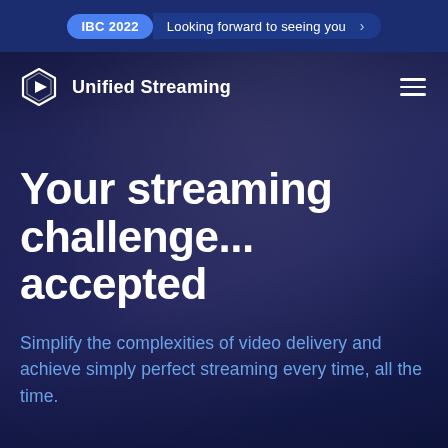IBC 2022  Looking forward to seeing you >
[Figure (logo): Unified Streaming hexagon play-button logo with text 'Unified Streaming']
Your streaming challenge... accepted
Simplify the complexities of video delivery and achieve simply perfect streaming every time, all the time.